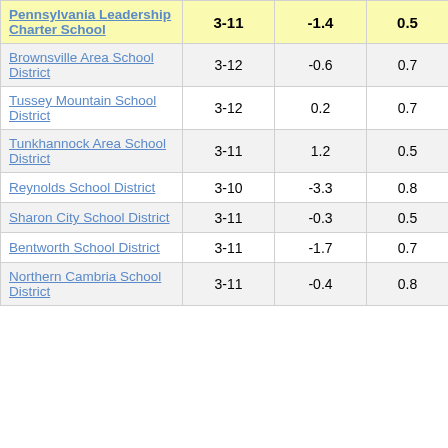| School/District | Grades | Col3 | Col4 | Score |
| --- | --- | --- | --- | --- |
| Pennsylvania Leadership Charter School | 3-11 | -1.4 | 0.5 | -2.93 |
| Brownsville Area School District | 3-12 | -0.6 | 0.7 | -0.90 |
| Tussey Mountain School District | 3-12 | 0.2 | 0.7 | 0.24 |
| Tunkhannock Area School District | 3-11 | 1.2 | 0.5 | 2.30 |
| Reynolds School District | 3-10 | -3.3 | 0.8 | -4.36 |
| Sharon City School District | 3-11 | -0.3 | 0.5 | -0.53 |
| Bentworth School District | 3-11 | -1.7 | 0.7 | -2.39 |
| Northern Cambria School District | 3-11 | -0.4 | 0.8 | -0.51 |